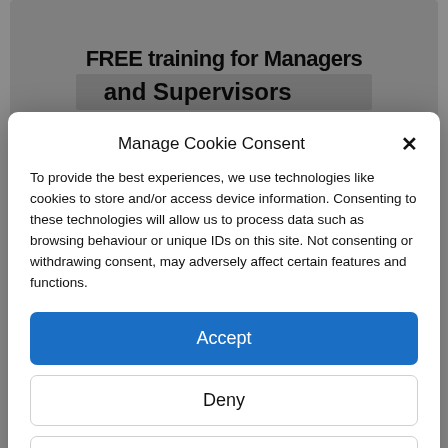[Figure (screenshot): Background page content partially visible: header area showing 'FREE training for Managers and Supervisors' in bold text, and bottom area showing tags 'management, training' and article title 'FREE training for Managers and Supervisors: Jan']
Manage Cookie Consent
To provide the best experiences, we use technologies like cookies to store and/or access device information. Consenting to these technologies will allow us to process data such as browsing behaviour or unique IDs on this site. Not consenting or withdrawing consent, may adversely affect certain features and functions.
Accept
Deny
View preferences
Cookie Policy   Privacy & Cookie Policy, Terms of Use